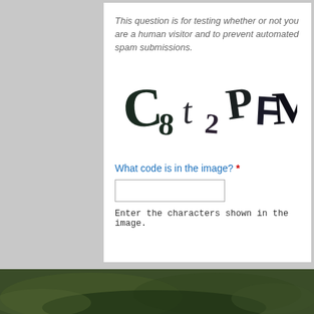This question is for testing whether or not you are a human visitor and to prevent automated spam submissions.
[Figure (other): CAPTCHA image showing distorted characters: C 8 t 2 P F M in dark handwritten style on white background]
What code is in the image? *
Enter the characters shown in the image.
Submit
[Figure (photo): Blurred dark green outdoor photo at the bottom of the page]